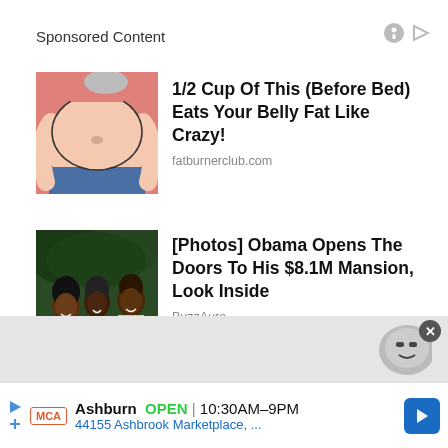Sponsored Content
[Figure (illustration): Cartoon illustration of overweight belly]
1/2 Cup Of This (Before Bed) Eats Your Belly Fat Like Crazy!
fatburnerclub.com
[Figure (photo): Photo of Obama family group portrait outdoors]
[Photos] Obama Opens The Doors To His $8.1M Mansion, Look Inside
BuzzAura
[Figure (illustration): Partial gray cartoon character illustration in bottom banner]
Ashburn  OPEN  |  10:30AM–9PM
44155 Ashbrook Marketplace, ...